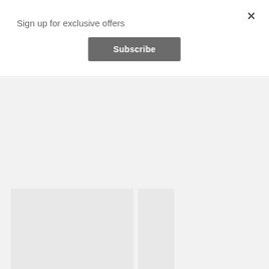Sign up for exclusive offers
×
Subscribe
[Figure (photo): Product image placeholder box for wallpaper product]
WALLPAPER DOUBLE ROLL 21646
WallUSA.com -
Discontinued Wallpaper